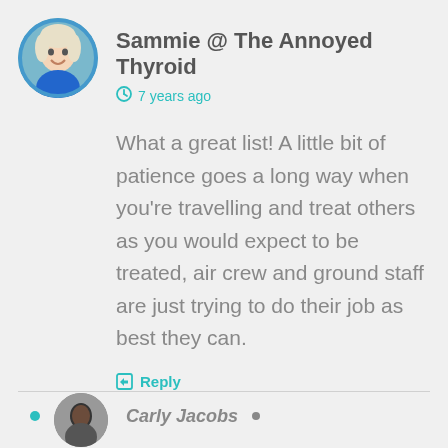[Figure (photo): Circular avatar photo of a woman (Sammie) smiling, with blue border]
Sammie @ The Annoyed Thyroid
7 years ago
What a great list! A little bit of patience goes a long way when you're travelling and treat others as you would expect to be treated, air crew and ground staff are just trying to do their job as best they can.
Reply
[Figure (photo): Partial circular avatar of next commenter (Carly Jacobs) at bottom of page]